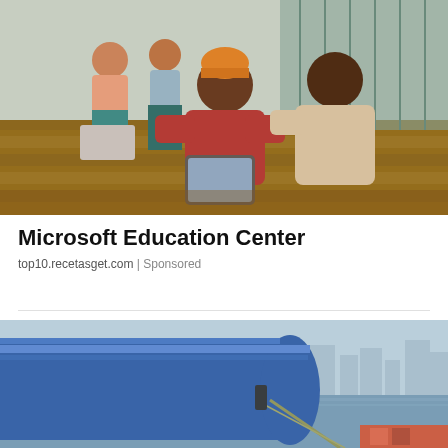[Figure (photo): Students sitting on wooden bleachers in an indoor atrium; foreground shows a young man in a red hoodie and orange beanie looking at a tablet with a young woman in a cream jacket; background shows other students with laptops.]
Microsoft Education Center
top10.recetasget.com | Sponsored
[Figure (photo): Close-up of the bow of a large blue cargo ship docked at a port, with a city skyline visible in the hazy background and shipping containers in the lower right.]